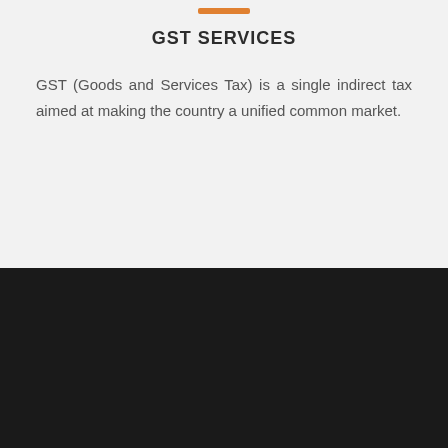GST SERVICES
GST (Goods and Services Tax) is a single indirect tax aimed at making the country a unified common market.
[Figure (logo): CA logo — stylized 'CA' letters in dark blue and green with diagonal slash — alongside the firm name 'RISHI BANSAL & CO.' and subtitle 'Chartered Accountants' in white on a dark background.]
RISHI BANSAL & CO. is a CA FIRMS that offers peer to peer